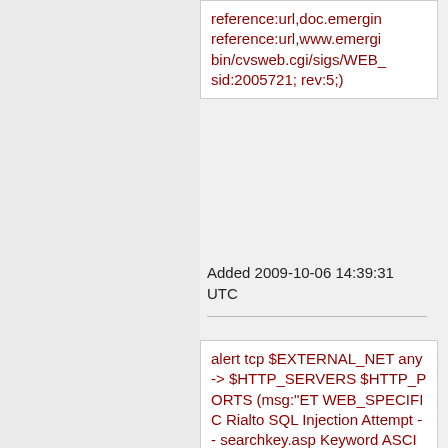reference:url,doc.emergin reference:url,www.emergi bin/cvsweb.cgi/sigs/WEB_ sid:2005721; rev:5;)
Added 2009-10-06 14:39:31 UTC
alert tcp $EXTERNAL_NET any -> $HTTP_SERVERS $HTTP_PORTS (msg:"ET WEB_SPECIFIC Rialto SQL Injection Attempt -- searchkey.asp Keyword ASCII"; flow:established,to_serv